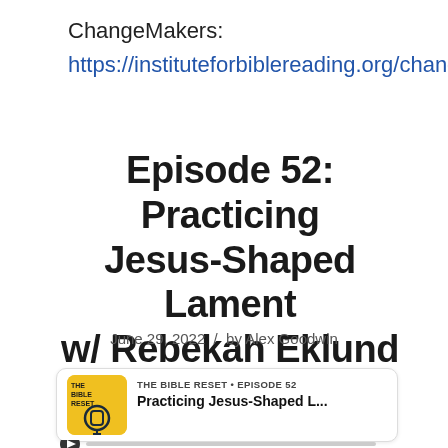ChangeMakers:
https://instituteforbiblereading.org/chang…
Episode 52: Practicing Jesus-Shaped Lament w/ Rebekah Eklund
June 29, 2022 / by Alex Goodwin
[Figure (screenshot): Podcast player card showing 'The Bible Reset • Episode 52' with title 'Practicing Jesus-Shaped L...' and a yellow podcast icon with play controls]